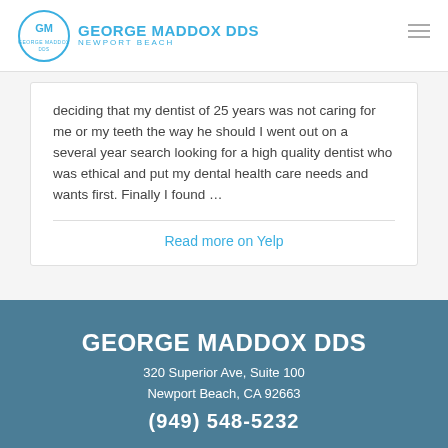GEORGE MADDOX DDS NEWPORT BEACH
deciding that my dentist of 25 years was not caring for me or my teeth the way he should I went out on a several year search looking for a high quality dentist who was ethical and put my dental health care needs and wants first. Finally I found …
Read more on Yelp
GEORGE MADDOX DDS
320 Superior Ave, Suite 100
Newport Beach, CA 92663
(949) 548-5232